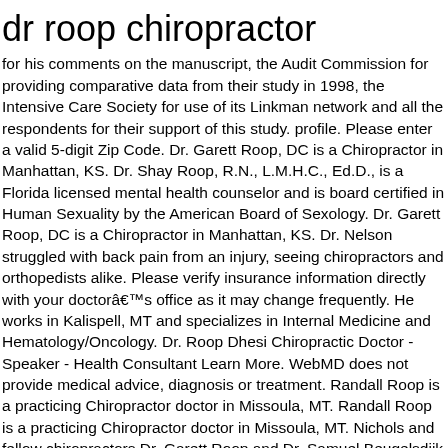dr roop chiropractor
for his comments on the manuscript, the Audit Commission for providing comparative data from their study in 1998, the Intensive Care Society for use of its Linkman network and all the respondents for their support of this study. profile. Please enter a valid 5-digit Zip Code. Dr. Garett Roop, DC is a Chiropractor in Manhattan, KS. Dr. Shay Roop, R.N., L.M.H.C., Ed.D., is a Florida licensed mental health counselor and is board certified in Human Sexuality by the American Board of Sexology. Dr. Garett Roop, DC is a Chiropractor in Manhattan, KS. Dr. Nelson struggled with back pain from an injury, seeing chiropractors and orthopedists alike. Please verify insurance information directly with your doctorâs office as it may change frequently. He works in Kalispell, MT and specializes in Internal Medicine and Hematology/Oncology. Dr. Roop Dhesi Chiropractic Doctor - Speaker - Health Consultant Learn More. WebMD does not provide medical advice, diagnosis or treatment. Randall Roop is a practicing Chiropractor doctor in Missoula, MT. Randall Roop is a practicing Chiropractor doctor in Missoula, MT. Nichols and fellow chiropractors Dr. Garett Roop and Dr. Samuel Beugelsdijk provide sports injury treatment for both adults and youth athletes. He currently practices at Nichols Chiropractic. Dr. Patenaude has treated hundreds of car accident patients and has worked with